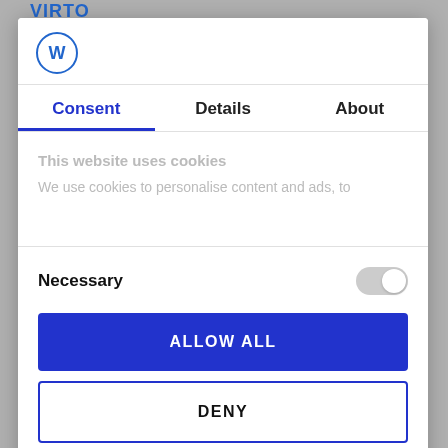[Figure (logo): VIRTO logo text in blue/green at top of page background]
[Figure (logo): Circular logo with W letter inside a blue circle outline]
Consent | Details | About
This website uses cookies
We use cookies to personalise content and ads, to
Necessary
ALLOW ALL
DENY
Powered by Cookiebot by Usercentrics